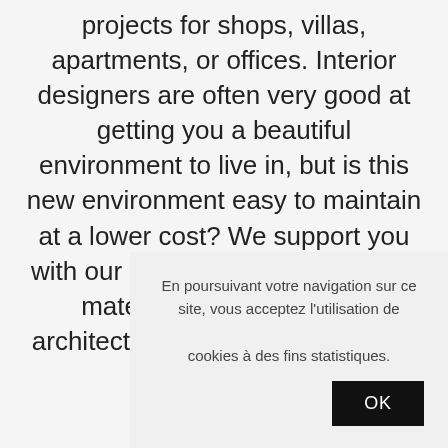projects for shops, villas, apartments, or offices. Interior designers are often very good at getting you a beautiful environment to live in, but is this new environment easy to maintain at a lower cost? We support you with our expertise in the choice of materials offered by your architect, notably regarding floors
En poursuivant votre navigation sur ce site, vous acceptez l'utilisation de cookies à des fins statistiques.
OK